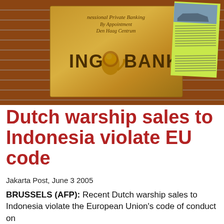[Figure (photo): Photograph of an ING Bank bronze plaque mounted on a brick wall, with a green flyer/leaflet attached to the right side of the plaque. The green flyer contains text and an image of what appears to be a warship.]
Dutch warship sales to Indonesia violate EU code
Jakarta Post, June 3 2005
BRUSSELS (AFP): Recent Dutch warship sales to Indonesia violate the European Union's code of conduct on